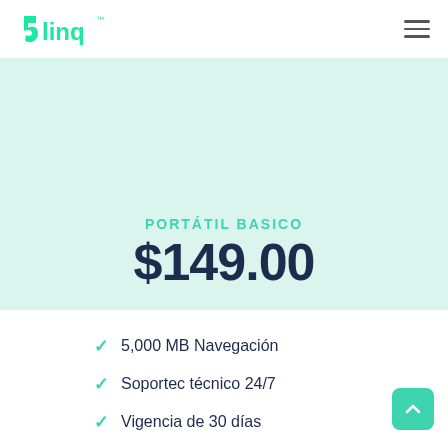[Figure (logo): 5linq brand logo with teal green stylized '5linq' text and superscript TM]
[Figure (illustration): Teal/green downward-pointing triangle/arrow indicator above the pricing card]
PORTÁTIL BASICO
$149.00
5,000 MB Navegación
Soportec técnico 24/7
Vigencia de 30 días